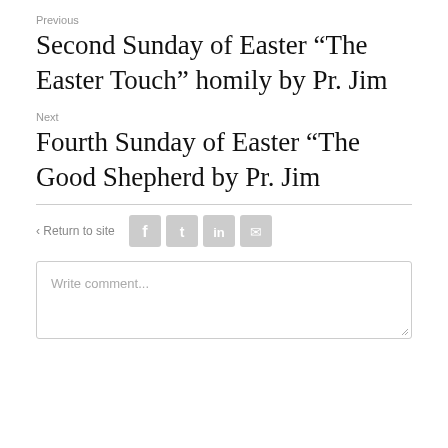Previous
Second Sunday of Easter “The Easter Touch” homily by Pr. Jim
Next
Fourth Sunday of Easter “The Good Shepherd by Pr. Jim
< Return to site
[Figure (other): Social media sharing icons: Facebook, Twitter, LinkedIn, Email]
Write comment...